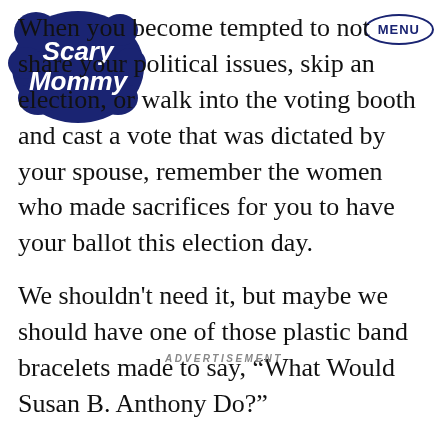Scary Mommy logo | MENU button
When you become tempted to not share your political issues, skip an election, or walk into the voting booth and cast a vote that was dictated by your spouse, remember the women who made sacrifices for you to have your ballot this election day.
We shouldn't need it, but maybe we should have one of those plastic band bracelets made to say, “What Would Susan B. Anthony Do?”
ADVERTISEMENT